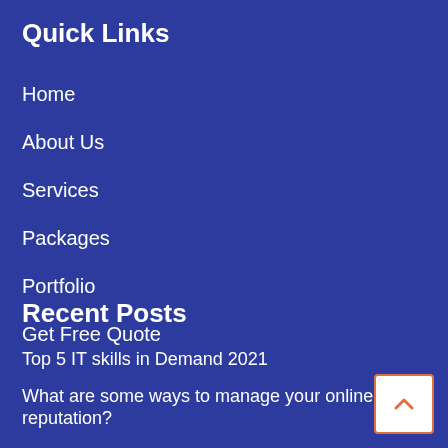Quick Links
Home
About Us
Services
Packages
Portfolio
Get Free Quote
Recent Posts
Top 5 IT skills in Demand 2021
What are some ways to manage your online reputation?
TOP SEO TRENDS FOR 2021
Top 10 Link Building strategies 2020 that work